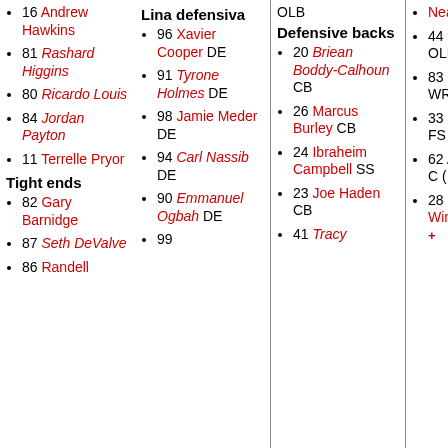16 Andrew Hawkins
81 Rashard Higgins
80 Ricardo Louis
84 Jordan Payton
11 Terrelle Pryor
Tight ends
82 Gary Barnidge
87 Seth DeValve
86 Randell
Lina defensiva
96 Xavier Cooper DE
91 Tyrone Holmes DE
98 Jamie Meder DE
94 Carl Nassib DE
90 Emmanuel Ogbah DE
99
OLB
Defensive backs
20 Briean Boddy-Calhoun CB
26 Marcus Burley CB
24 Ibraheim Campbell SS
23 Joe Haden CB
41 Tracy
Neal RB (IR) +
44 Nate Orchard OLB (IR) +
83 Dennis Parks WR (IR) +
33 Jordan Poyer FS (IR) +
62 Austin Reiter C (IR) +
28 Glenn Winston RB (IR) +